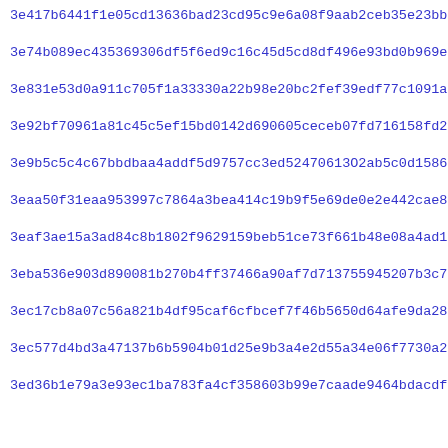3e417b6441f1e05cd13636bad23cd95c9e6a08f9aab2ceb35e23bbbab7eee
3e74b089ec435369306df5f6ed9c16c45d5cd8df496e93bd0b969e3271228
3e831e53d0a911c705f1a33330a22b98e20bc2fef39edf77c1091a67772af
3e92bf70961a81c45c5ef15bd0142d690605ceceb07fd716158fd2551d6f6
3e9b5c5c4c67bbdbaa4addf5d9757cc3ed52470613O2ab5c0d1586cf38bcd
3eaa50f31eaa953997c7864a3bea414c19b9f5e69de0e2e442cae8b69f12e
3eaf3ae15a3ad84c8b1802f9629159beb51ce73f661b48e08a4ad1cddfa6d
3eba536e903d890081b270b4ff37466a90af7d713755945207b3c7ab34401
3ec17cb8a07c56a821b4df95caf6cfbcef7f46b5650d64afe9da28ca7b1c5
3ec577d4bd3a47137b6b5904b01d25e9b3a4e2d55a34e06f7730a215e4415
3ed36b1e79a3e93ec1ba783fa4cf358603b99e7caade9464bdacdfe09afac